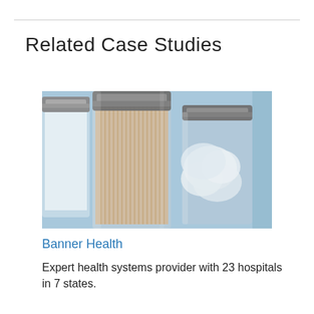Related Case Studies
[Figure (photo): Close-up photo of glass jars with metal lids containing medical/lab supplies — cotton swabs in the center jar and cotton balls in the right jar — on a light blue background.]
Banner Health
Expert health systems provider with 23 hospitals in 7 states.